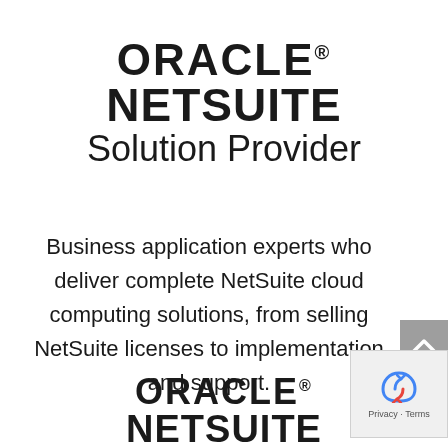[Figure (logo): Oracle NetSuite Solution Provider logo — 'ORACLE' in large bold black text with registered trademark, 'NETSUITE' in bold black text below, 'Solution Provider' in regular weight below that]
Business application experts who deliver complete NetSuite cloud computing solutions, from selling NetSuite licenses to implementation and support.
[Figure (logo): Oracle NetSuite logo repeated at bottom of page — 'ORACLE' with registered trademark and 'NETSUITE' partially visible]